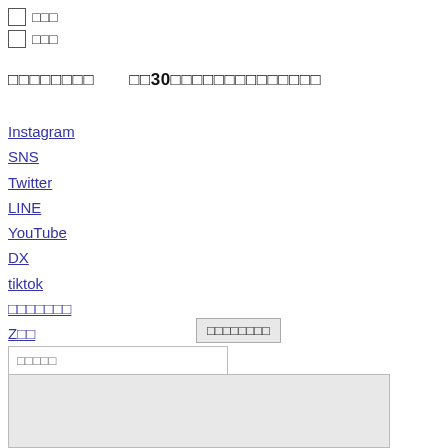□ □□□
□ □□□
□□□□□□□□　　□□30□□□□□□□□□□□□□□
Instagram
SNS
Twitter
LINE
YouTube
DX
tiktok
□□□□□□□
Z□□
CRM
□□□□□□□□
□□□□□